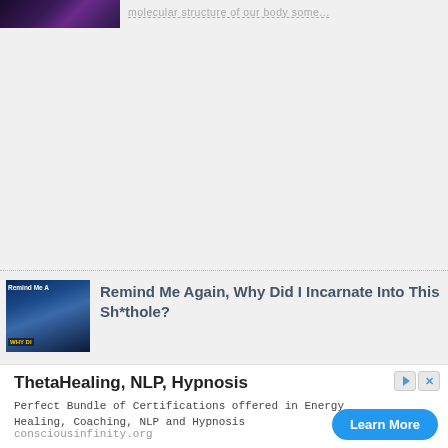[Figure (photo): Small thumbnail image with dark purple/cosmic background at top left]
molecular structure of our body some...
[Figure (photo): Related article thumbnail: blue cosmic/water image with 'Remind Me' and 'WHY DI' text overlay]
Remind Me Again, Why Did I Incarnate Into This Sh*thole?
ThetaHealing, NLP, Hypnosis
Perfect Bundle of Certifications offered in Energy Healing, Coaching, NLP and Hypnosis
consciousinfinity.org
Learn More